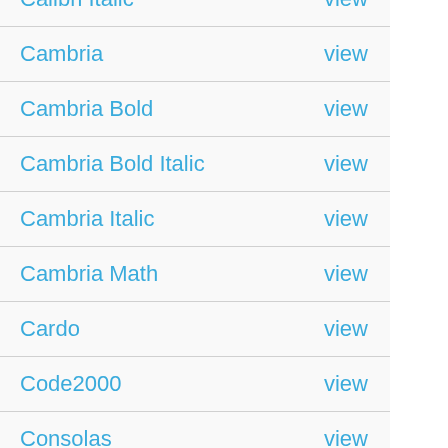| Font name | Action |
| --- | --- |
| Calibri Italic | view |
| Cambria | view |
| Cambria Bold | view |
| Cambria Bold Italic | view |
| Cambria Italic | view |
| Cambria Math | view |
| Cardo | view |
| Code2000 | view |
| Consolas | view |
| Consolas Bold | view |
| Consolas Bold Italic | view |
| Consolas Italic | view |
| Courier New | view |